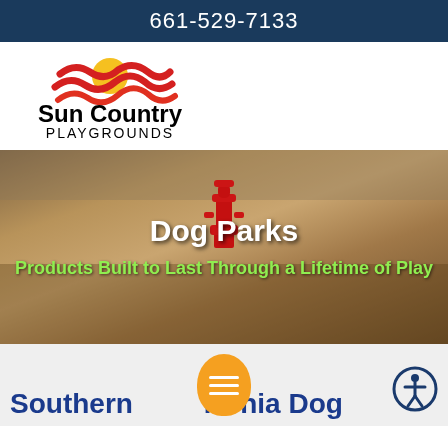661-529-7133
[Figure (logo): Sun Country Playgrounds logo with stylized red and yellow wave graphic above bold black text reading 'Sun Country PLAYGROUNDS']
[Figure (photo): Dog park scene with two dogs near a red fire hydrant and playground equipment in the background. Text overlay reads 'Dog Parks' and 'Products Built to Last Through a Lifetime of Play']
Southern California Dog